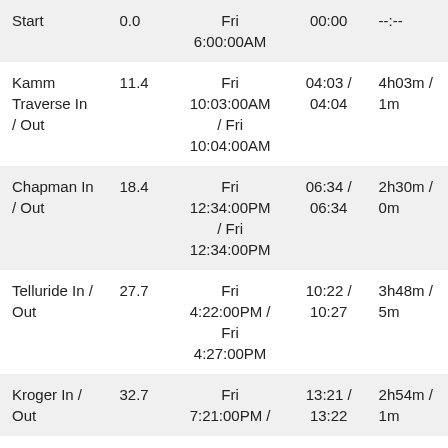| Location | Distance | Date/Time | Elapsed | Segment |
| --- | --- | --- | --- | --- |
| Start | 0.0 | Fri
6:00:00AM | 00:00 | --:-- |
| Kamm Traverse In / Out | 11.4 | Fri
10:03:00AM
/ Fri
10:04:00AM | 04:03 /
04:04 | 4h03m / 1m |
| Chapman In / Out | 18.4 | Fri
12:34:00PM
/ Fri
12:34:00PM | 06:34 /
06:34 | 2h30m / 0m |
| Telluride In / Out | 27.7 | Fri
4:22:00PM /
Fri
4:27:00PM | 10:22 /
10:27 | 3h48m / 5m |
| Kroger In / Out | 32.7 | Fri
7:21:00PM / | 13:21 /
13:22 | 2h54m / 1m |